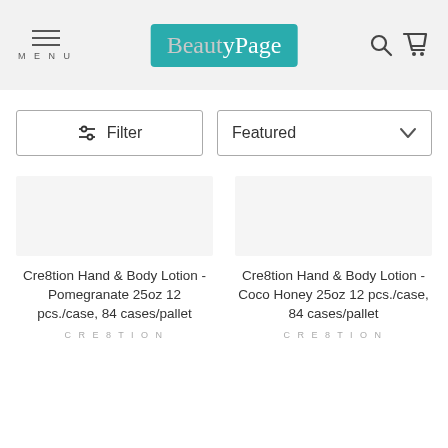BeautyPage — MENU, Search, Cart
Filter | Featured
Cre8tion Hand & Body Lotion - Pomegranate 25oz 12 pcs./case, 84 cases/pallet
CREBTION
Cre8tion Hand & Body Lotion - Coco Honey 25oz 12 pcs./case, 84 cases/pallet
CREBTION